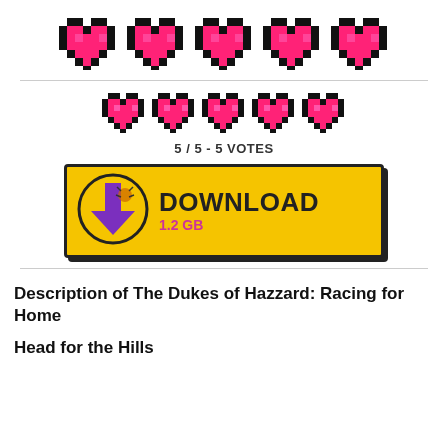[Figure (illustration): Five large pixel-art heart icons in a row at the top of the page]
[Figure (illustration): Five smaller pixel-art heart icons in a row below divider]
5 / 5 - 5 VOTES
[Figure (illustration): Yellow download button with purple pixel download arrow icon, text DOWNLOAD and 1.2 GB]
Description of The Dukes of Hazzard: Racing for Home
Head for the Hills